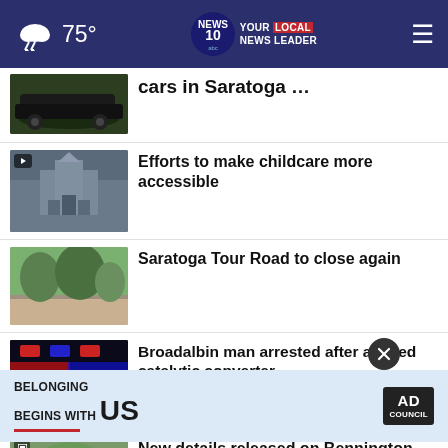75° | NEWS 10 YOUR LOCAL NEWS LEADER
cars in Saratoga …
Efforts to make childcare more accessible
Saratoga Tour Road to close again
Broadalbin man arrested after alleged catalytic converter …
New details released on Bennington plane crash
Saratoga Springs residents a d to conserve water
[Figure (screenshot): Advertisement banner: BELONGING BEGINS WITH US, Ad Council logo]